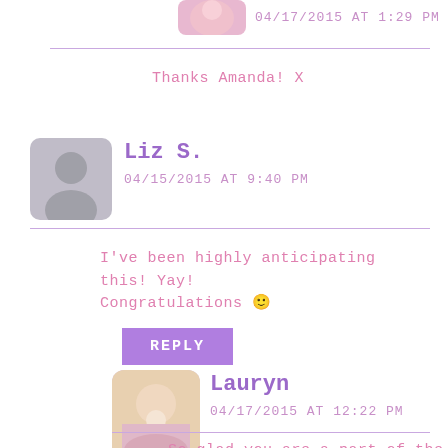[Figure (photo): Partial avatar image at top, cropped]
04/17/2015 AT 1:29 PM
Thanks Amanda! X
[Figure (illustration): Gray placeholder avatar for Liz S.]
Liz S.
04/15/2015 AT 9:40 PM
I've been highly anticipating this! Yay! Congratulations 🙂
REPLY
[Figure (photo): Lauryn avatar photo - blonde woman]
Lauryn
04/17/2015 AT 12:22 PM
So glad you are a part of the